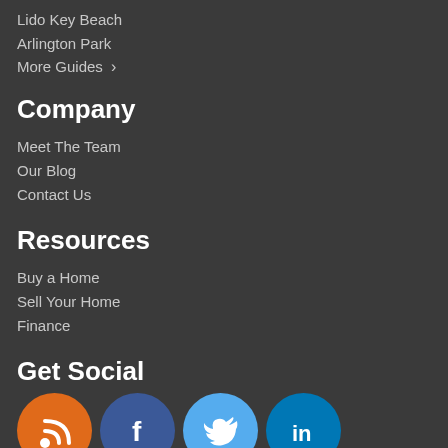Lido Key Beach
Arlington Park
More Guides >
Company
Meet The Team
Our Blog
Contact Us
Resources
Buy a Home
Sell Your Home
Finance
Get Social
[Figure (infographic): Row of four social media icons: RSS (orange), Facebook (dark blue), Twitter (light blue), LinkedIn (blue)]
About Us